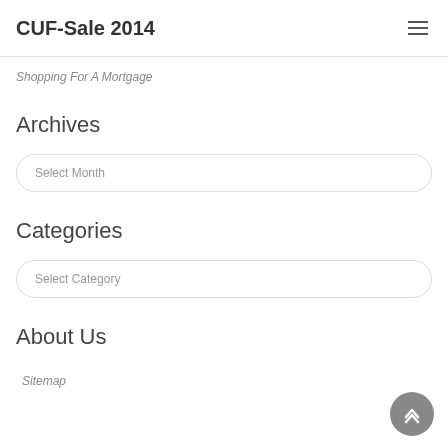CUF-Sale 2014
Shopping For A Mortgage
Archives
Select Month
Categories
Select Category
About Us
Sitemap